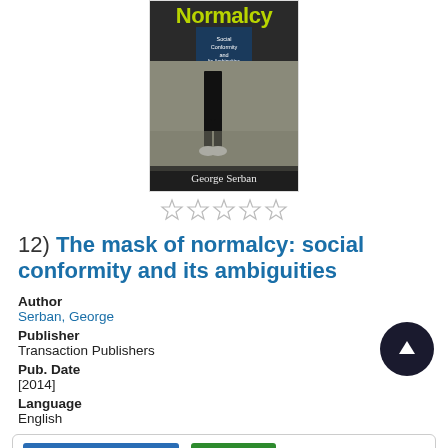[Figure (photo): Book cover of 'The Mask of Normalcy: Social Conformity and Its Ambiguities' by George Serban, showing a person's lower body standing in a field.]
[Figure (other): Five empty star rating symbols in a row]
12)  The mask of normalcy: social conformity and its ambiguities
Author
Serban, George
Publisher
Transaction Publishers
Pub. Date
[2014]
Language
English
| Book | Available | Central - Adult Nonfiction  1 available |
| Show Edition |  | 303.32 SERBA |